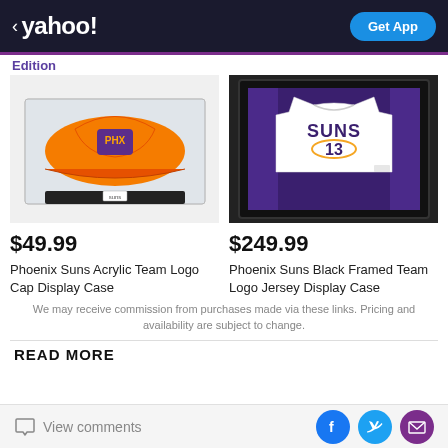< yahoo!  Get App
Edition
[Figure (photo): Phoenix Suns orange PHX baseball cap displayed in acrylic case on black stand]
[Figure (photo): Phoenix Suns white jersey #13 displayed in black framed case with purple background]
$49.99
Phoenix Suns Acrylic Team Logo Cap Display Case
$249.99
Phoenix Suns Black Framed Team Logo Jersey Display Case
We may receive commission from purchases made via these links. Pricing and availability are subject to change.
READ MORE
View comments